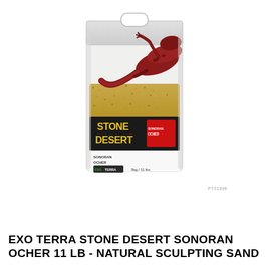[Figure (photo): Product photo of Exo Terra Stone Desert Sonoran Ocher 11 lb bag of natural sculpting sand. The clear plastic bag shows sandy/gravelly substrate inside with a red and purple lizard/salamander on the front. The bag label reads 'STONE DESERT' in yellow text on black background, with a red label area, 'SONORAN OCHER' text, the Exo Terra logo, and '5kg / 11 lbs' weight indicated.]
PT3139
EXO TERRA STONE DESERT SONORAN OCHER 11 LB - NATURAL SCULPTING SAND